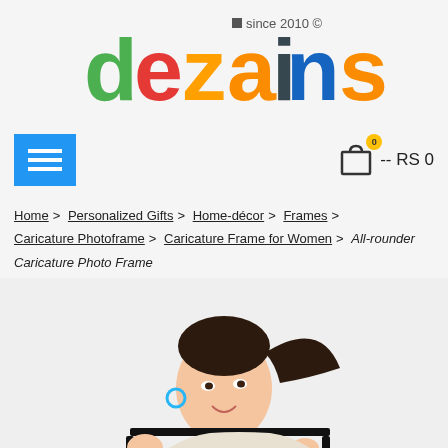[Figure (logo): Dezains logo with colorful letters and 'since 2010 ©' tagline]
[Figure (screenshot): Navigation bar with blue hamburger menu button on left and shopping cart with badge showing '0' and text '-- RS 0' on right]
Home > Personalized Gifts > Home-décor > Frames > Caricature Photoframe > Caricature Frame for Women > All-rounder Caricature Photo Frame
[Figure (photo): Woman with ponytail holding a black photo frame, smiling, against white background]